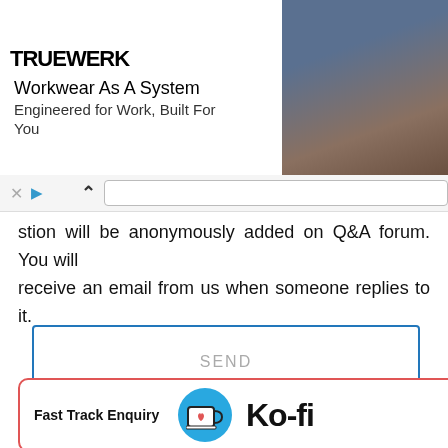[Figure (screenshot): TRUEWERK advertisement banner: logo on left, text 'Workwear As A System / Engineered for Work, Built For You', photo of worker on right]
stion will be anonymously added on Q&A forum. You will receive an email from us when someone replies to it.
SEND
[Figure (logo): Ko-fi Fast Track Enquiry card with Ko-fi logo (coffee cup with heart) and price £8.45]